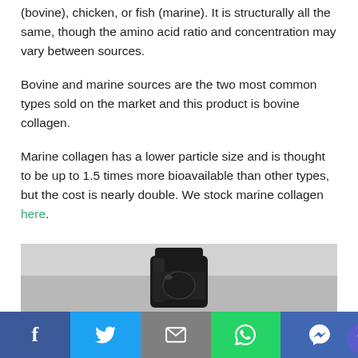(bovine), chicken, or fish (marine). It is structurally all the same, though the amino acid ratio and concentration may vary between sources.
Bovine and marine sources are the two most common types sold on the market and this product is bovine collagen.
Marine collagen has a lower particle size and is thought to be up to 1.5 times more bioavailable than other types, but the cost is nearly double. We stock marine collagen here.
[Figure (photo): Photo of a dark/black supplement bottle with cap, partially visible against a light grey background]
[Figure (infographic): Social media share bar with Facebook, Twitter, Email, WhatsApp, and Messenger buttons]